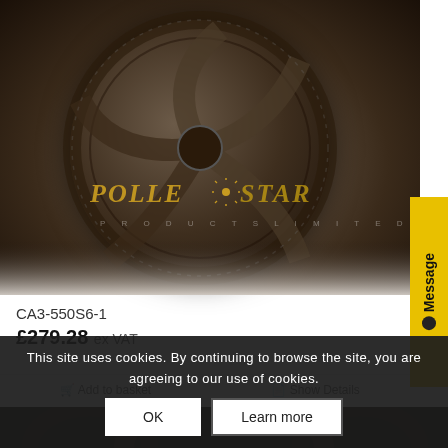[Figure (photo): Industrial axial fan motor, circular dark metal housing viewed from the front, with a watermark logo reading POLLESTAR PRODUCTS LIMITED overlaid in gold and white text]
CA3-550S6-1
£279.28 ex VAT
Add to basket
Show Details
[Figure (other): Message tab button on right side — yellow vertical tab with 'Message' text and a chat bubble icon]
This site uses cookies. By continuing to browse the site, you are agreeing to our use of cookies.
OK
Learn more